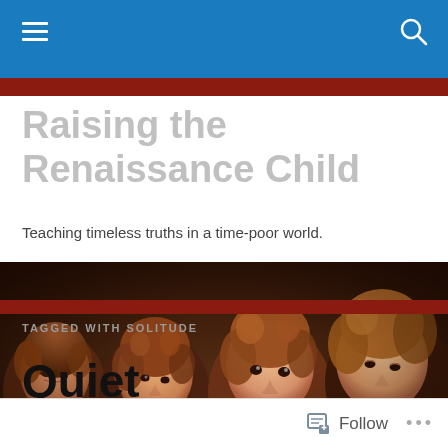Raising the Renaissance Child — navigation bar with hamburger menu and search icon
Raising the Renaissance Child
Teaching timeless truths in a time-poor world.
[Figure (photo): Renaissance-style painting showing four children with curly hair, warm brown tones, close-up portrait view]
TAGGED WITH SOLITUDE
Quiet
Follow ...